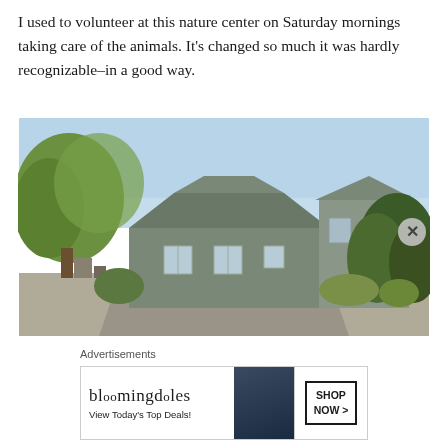I used to volunteer at this nature center on Saturday mornings taking care of the animals. It's changed so much it was hardly recognizable–in a good way.
[Figure (photo): Exterior photo of a nature center building — a grey barn-style structure with gambrel roof, surrounded by green trees and shrubs, with a gravel driveway in front. Sunny day with blue sky.]
Advertisements
[Figure (photo): Bloomingdale's advertisement banner: 'bloomingdales / View Today's Top Deals!' with a woman in a large navy hat, and a 'SHOP NOW >' button.]